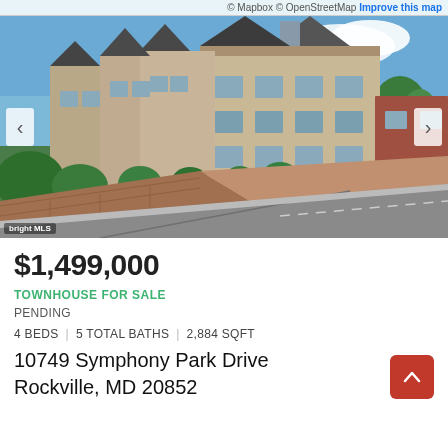© Mapbox © OpenStreetMap Improve this map
[Figure (photo): Exterior photo of brick and stone townhouses with green landscaping, brick paver courtyard, and street in foreground. Blue sky with clouds in background.]
$1,499,000
TOWNHOUSE FOR SALE
PENDING
4 BEDS | 5 TOTAL BATHS | 2,884 SQFT
10749 Symphony Park Drive
Rockville, MD 20852